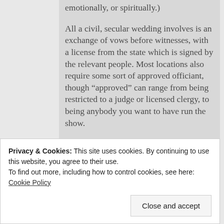emotionally, or spiritually.)
All a civil, secular wedding involves is an exchange of vows before witnesses, with a license from the state which is signed by the relevant people. Most locations also require some sort of approved officiant, though “approved” can range from being restricted to a judge or licensed clergy, to being anybody you want to have run the show.
If you don’t feel comfortable
Privacy & Cookies: This site uses cookies. By continuing to use this website, you agree to their use.
To find out more, including how to control cookies, see here: Cookie Policy
Close and accept